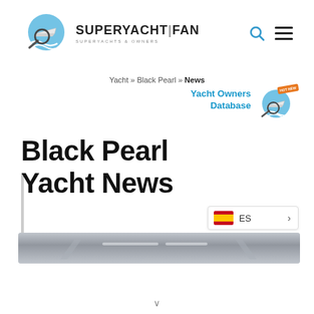[Figure (logo): SuperYachtFan logo with magnifying glass over yacht and waves, text SUPERYACHT|FAN SUPERYACHTS & OWNERS]
Yacht » Black Pearl » News
[Figure (logo): Yacht Owners Database banner with SuperYachtFan logo and HOT NEW badge]
Black Pearl Yacht News
[Figure (screenshot): Gray hull/deck image strip of superyacht]
[Figure (other): ES language selector button with Spanish flag]